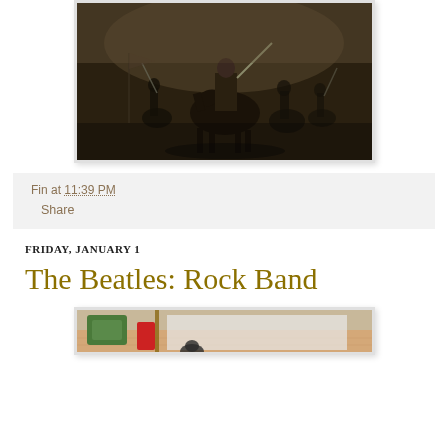[Figure (photo): Dark painting or photograph of a figure on horseback in a battle or historical scene, with other figures in the background holding weapons or flags]
Fin at 11:39 PM
Share
FRIDAY, JANUARY 1
The Beatles: Rock Band
[Figure (photo): Partial view of what appears to be The Beatles: Rock Band game or related imagery with colorful elements]